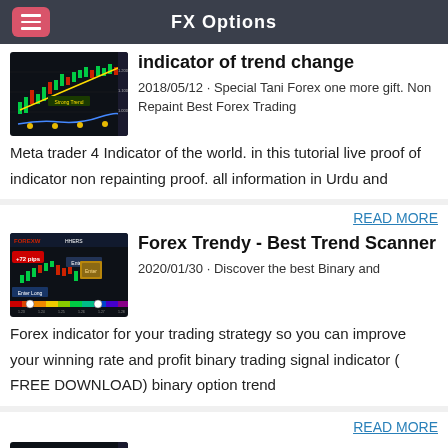FX Options
indicator of trend change
2018/05/12 · Special Tani Forex one more gift. Non Repaint Best Forex Trading Meta trader 4 Indicator of the world. in this tutorial live proof of indicator non repainting proof. all information in Urdu and
READ MORE
Forex Trendy - Best Trend Scanner
2020/01/30 · Discover the best Binary and Forex indicator for your trading strategy so you can improve your winning rate and profit binary trading signal indicator ( FREE DOWNLOAD) binary option trend
READ MORE
[Figure (screenshot): Third article thumbnail - forex chart screenshot]